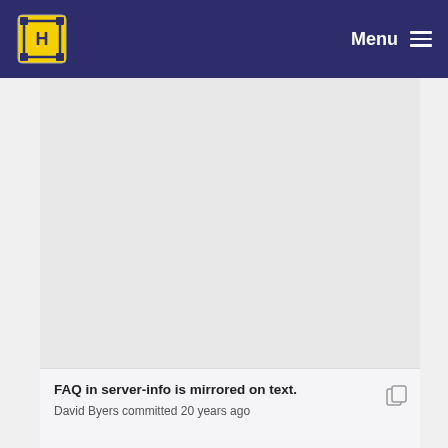Menu
[Figure (other): Empty gray content area (advertisement or image placeholder)]
FAQ in server-info is mirrored on text.
David Byers committed 20 years ago
Updated bad ChangeLog message from 2002-04-11
David Byers committed 20 years ago
Added log messages forgotten by David Byers.
Per Cederqvist committed 20 years ago